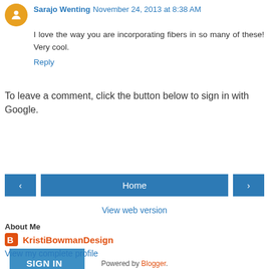Sarajo Wenting November 24, 2013 at 8:38 AM
I love the way you are incorporating fibers in so many of these! Very cool.
Reply
To leave a comment, click the button below to sign in with Google.
[Figure (other): SIGN IN WITH GOOGLE button]
[Figure (other): Navigation bar with back arrow, Home button, and forward arrow]
View web version
About Me
KristiBowmanDesign
View my complete profile
Powered by Blogger.